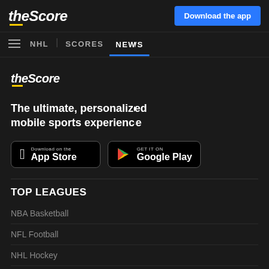theScore | Download the app
≡ NHL | SCORES NEWS
[Figure (logo): theScore logo in italic bold white text with yellow underline accent]
The ultimate, personalized mobile sports experience
[Figure (infographic): App Store and Google Play download buttons]
TOP LEAGUES
NBA Basketball
NFL Football
NHL Hockey
MLB Baseball